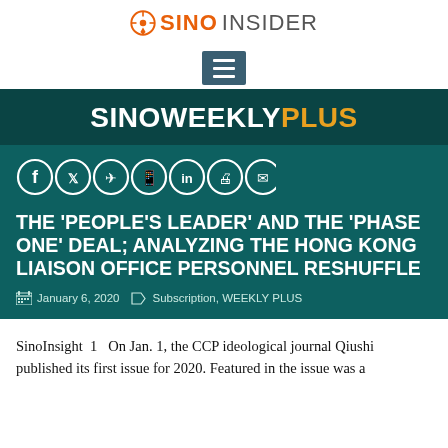SINOINSIDER
SINOWEEKLYPLUS
[Figure (infographic): Social sharing icons row: Facebook, Twitter, Telegram, WhatsApp, LinkedIn, Print, Email — white circle outlines]
THE 'PEOPLE'S LEADER' AND THE 'PHASE ONE' DEAL; ANALYZING THE HONG KONG LIAISON OFFICE PERSONNEL RESHUFFLE
January 6, 2020   Subscription, WEEKLY PLUS
SinoInsight  1   On Jan. 1, the CCP ideological journal Qiushi published its first issue for 2020. Featured in the issue was a